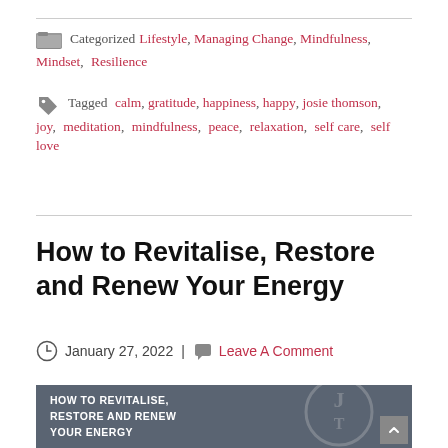Categorized Lifestyle, Managing Change, Mindfulness, Mindset, Resilience
Tagged calm, gratitude, happiness, happy, josie thomson, joy, meditation, mindfulness, peace, relaxation, self care, self love
How to Revitalise, Restore and Renew Your Energy
January 27, 2022 | Leave A Comment
[Figure (photo): Blog post hero image with text 'HOW TO REVITALISE, RESTORE AND RENEW YOUR ENERGY' on a dark grey background with a person visible on the right side and a circular watermark logo]